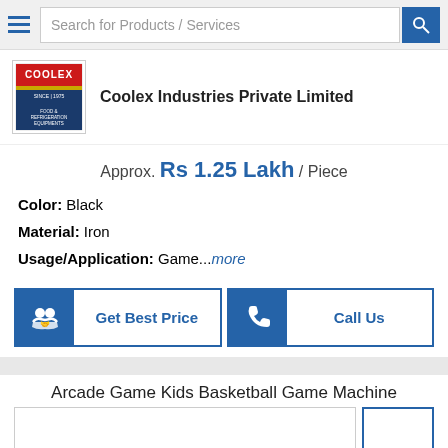Search for Products / Services
[Figure (logo): Coolex Industries logo - red text COOLEX, SINCE 1975, FOOD & REFRIGERATION EQUIPMENTS]
Coolex Industries Private Limited
Approx. Rs 1.25 Lakh / Piece
Color: Black
Material: Iron
Usage/Application: Game...more
Get Best Price
Call Us
Arcade Game Kids Basketball Game Machine
[Figure (photo): Product image area showing main image placeholder and thumbnail column with one blank thumbnail and one video play button thumbnail]